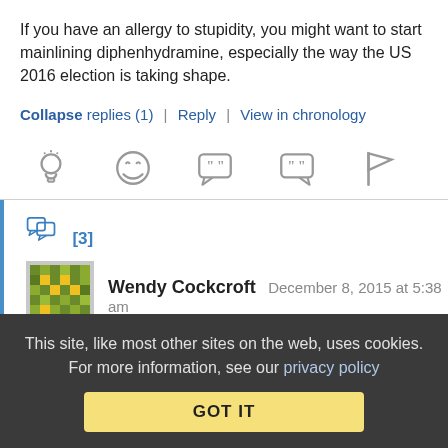If you have an allergy to stupidity, you might want to start mainlining diphenhydramine, especially the way the US 2016 election is taking shape.
Collapse replies (1) | Reply | View in chronology
[Figure (infographic): Row of reaction/action icons: lightbulb, laughing emoji, left-quote speech bubble, right-quote speech bubble, flag]
[Figure (infographic): Thread/replies icon with count [3]]
[Figure (illustration): User avatar for Wendy Cockcroft - green/yellow mosaic pattern avatar]
Wendy Cockcroft   December 8, 2015 at 5:38 am
Re: Re: allergy to stupidity
This site, like most other sites on the web, uses cookies. For more information, see our privacy policy
GOT IT